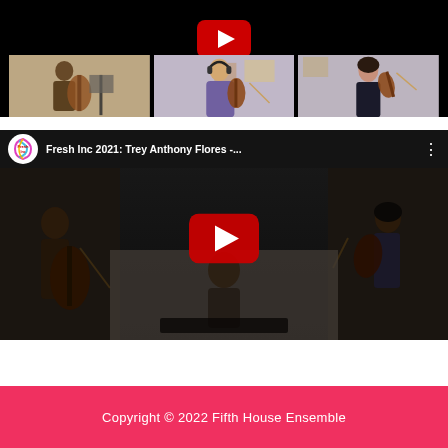[Figure (screenshot): YouTube video embed showing musicians playing strings (cello, violin) in separate video squares against a black background. A red YouTube play button is centered at top. Below are three thumbnail images: left shows a cellist, center shows a violinist with headphones, right shows a woman playing violin.]
[Figure (screenshot): YouTube video embed titled 'Fresh Inc 2021: Trey Anthony Flores -...' with Fresh Inc Festival logo circle on left, three-dot menu on right. The video shows string musicians in a dark setting with a large red YouTube play button centered. A pianist is visible in the lower center portion.]
Copyright © 2022 Fifth House Ensemble